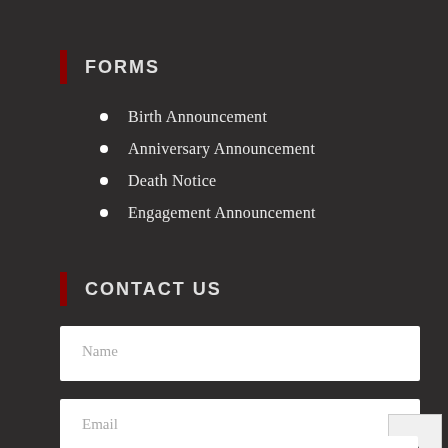FORMS
Birth Announcement
Anniversary Announcement
Death Notice
Engagement Announcement
CONTACT US
Name
Email